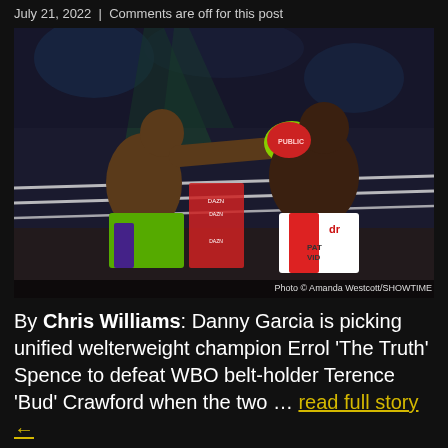July 21, 2022  |  Comments are off for this post
[Figure (photo): Two boxers in a boxing ring. One fighter wearing green trunks lands a punch on another fighter wearing red and white trunks. Photo credit: Amanda Westcott/SHOWTIME]
By Chris Williams: Danny Garcia is picking unified welterweight champion Errol 'The Truth' Spence to defeat WBO belt-holder Terence 'Bud' Crawford when the two … read full story ←